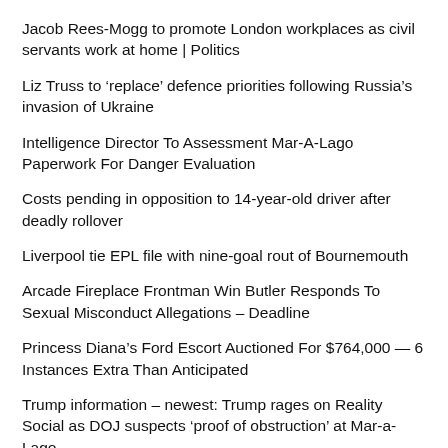Jacob Rees-Mogg to promote London workplaces as civil servants work at home | Politics
Liz Truss to ‘replace’ defence priorities following Russia’s invasion of Ukraine
Intelligence Director To Assessment Mar-A-Lago Paperwork For Danger Evaluation
Costs pending in opposition to 14-year-old driver after deadly rollover
Liverpool tie EPL file with nine-goal rout of Bournemouth
Arcade Fireplace Frontman Win Butler Responds To Sexual Misconduct Allegations – Deadline
Princess Diana’s Ford Escort Auctioned For $764,000 — 6 Instances Extra Than Anticipated
Trump information – newest: Trump rages on Reality Social as DOJ suspects ‘proof of obstruction’ at Mar-a-Lago
Quebec to announce extra measures to fight gun violence in Montreal